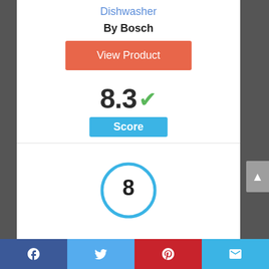Dishwasher
By Bosch
[Figure (other): Orange 'View Product' button]
8.3 ✓
Score
[Figure (other): Circle badge with number 8 inside]
[Figure (other): Social sharing bar with Facebook, Twitter, Pinterest, and email icons]